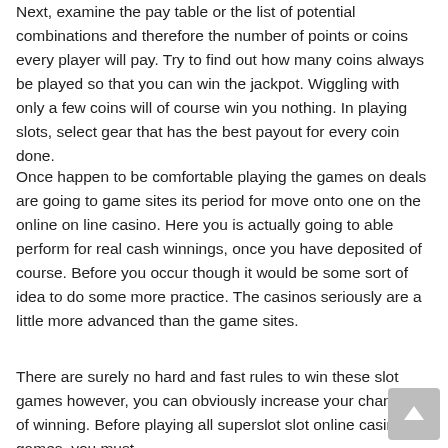Next, examine the pay table or the list of potential combinations and therefore the number of points or coins every player will pay. Try to find out how many coins always be played so that you can win the jackpot. Wiggling with only a few coins will of course win you nothing. In playing slots, select gear that has the best payout for every coin done.
Once happen to be comfortable playing the games on deals are going to game sites its period for move onto one on the online on line casino. Here you is actually going to able perform for real cash winnings, once you have deposited of course. Before you occur though it would be some sort of idea to do some more practice. The casinos seriously are a little more advanced than the game sites.
There are surely no hard and fast rules to win these slot games however, you can obviously increase your chances of winning. Before playing all superslot slot online casino games, you must